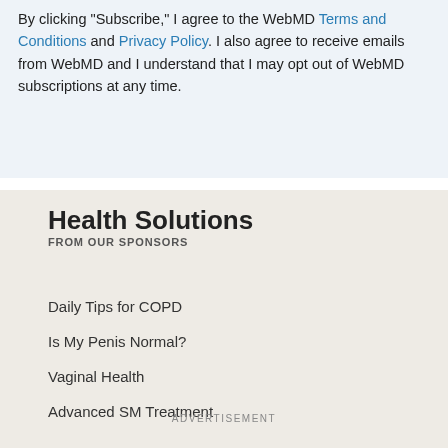By clicking "Subscribe," I agree to the WebMD Terms and Conditions and Privacy Policy. I also agree to receive emails from WebMD and I understand that I may opt out of WebMD subscriptions at any time.
Health Solutions
FROM OUR SPONSORS
Daily Tips for COPD
Is My Penis Normal?
Vaginal Health
Advanced SM Treatment
ADVERTISEMENT